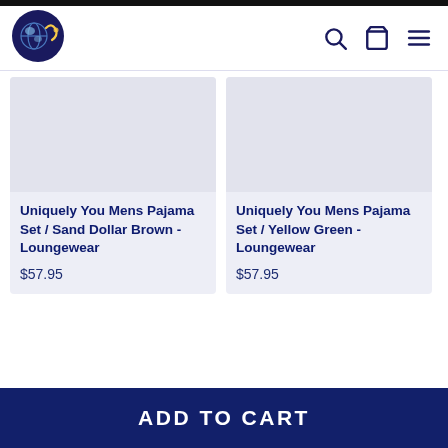[Figure (logo): Globe logo with world map and decorative swirl, dark navy circle background]
Search, Cart, and Menu icons in header
Uniquely You Mens Pajama Set / Sand Dollar Brown - Loungewear
$57.95
Uniquely You Mens Pajama Set / Yellow Green - Loungewear
$57.95
ADD TO CART